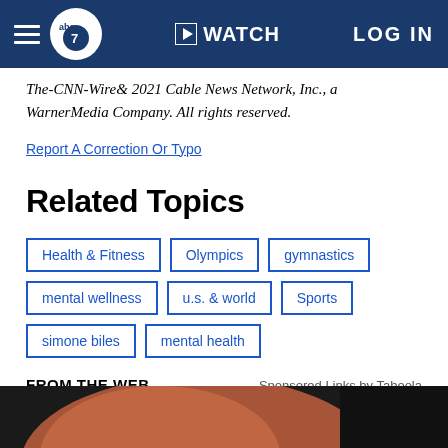abc7 | WATCH | LOG IN
The-CNN-Wire& 2021 Cable News Network, Inc., a WarnerMedia Company. All rights reserved.
Report A Correction Or Typo
Related Topics
Health & Fitness
Olympics
gymnastics
mental wellness
u.s. & world
Sports
simone biles
mental health
FROM THE WEB
Sponsored Links by Taboola
[Figure (photo): Partial photo of a person, cropped at bottom of page]